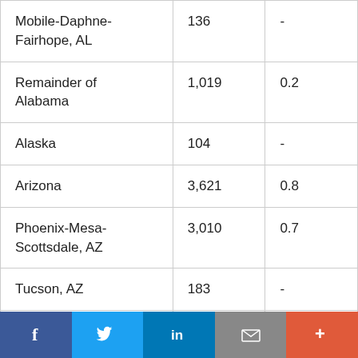| Mobile-Daphne-Fairhope, AL | 136 | - |
| Remainder of Alabama | 1,019 | 0.2 |
| Alaska | 104 | - |
| Arizona | 3,621 | 0.8 |
| Phoenix-Mesa-Scottsdale, AZ | 3,010 | 0.7 |
| Tucson, AZ | 183 | - |
| Remainder of Arizona | 427 | 0.1 |
Social sharing bar: Facebook, Twitter, LinkedIn, Email, More